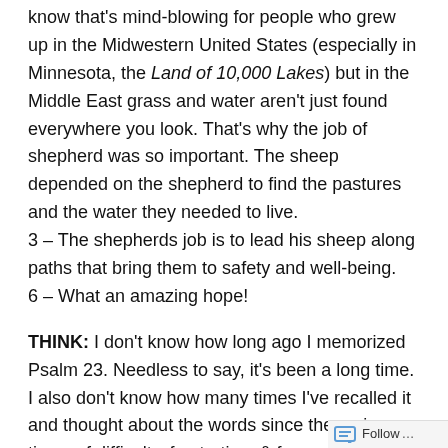know that's mind-blowing for people who grew up in the Midwestern United States (especially in Minnesota, the Land of 10,000 Lakes) but in the Middle East grass and water aren't just found everywhere you look. That's why the job of shepherd was so important. The sheep depended on the shepherd to find the pastures and the water they needed to live.
3 – The shepherds job is to lead his sheep along paths that bring them to safety and well-being.
6 – What an amazing hope!
THINK: I don't know how long ago I memorized Psalm 23. Needless to say, it's been a long time. I also don't know how many times I've recalled it and thought about the words since then – in times of difficulty, frustration, & fear
Follow